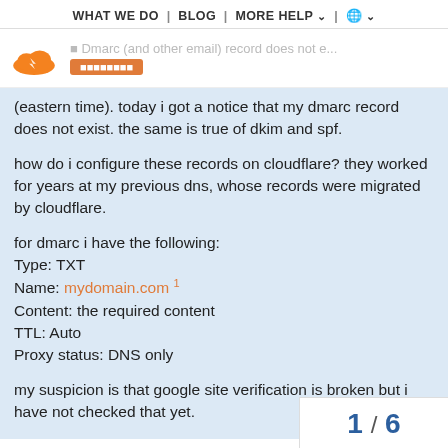WHAT WE DO | BLOG | MORE HELP | (globe)
[Figure (logo): Cloudflare orange cloud logo with partial heading text Dmarc (and other email) record does not e... and an orange button]
(eastern time). today i got a notice that my dmarc record does not exist. the same is true of dkim and spf.
how do i configure these records on cloudflare? they worked for years at my previous dns, whose records were migrated by cloudflare.
for dmarc i have the following:
Type: TXT
Name: mydomain.com 1
Content: the required content
TTL: Auto
Proxy status: DNS only
my suspicion is that google site verification is broken but i have not checked that yet.
1 / 6